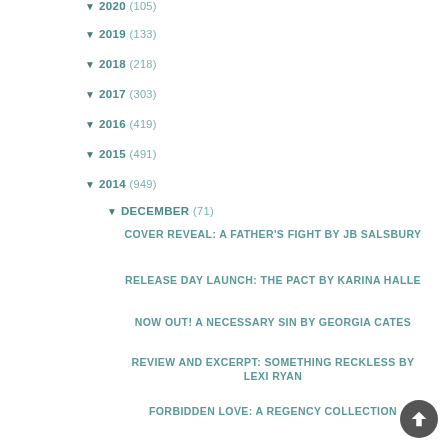2020 (105)
2019 (133)
2018 (218)
2017 (303)
2016 (419)
2015 (491)
2014 (949)
DECEMBER (71)
COVER REVEAL: A FATHER'S FIGHT BY JB SALSBURY
RELEASE DAY LAUNCH: THE PACT BY KARINA HALLE
NOW OUT! A NECESSARY SIN BY GEORGIA CATES
REVIEW AND EXCERPT: SOMETHING RECKLESS BY LEXI RYAN
FORBIDDEN LOVE: A REGENCY COLLECTION
NEW COVERS FOR KETLEY ALLISON: THE SNAPPED SERIES
REVIEW: WILD ONES BY KRISTINE WYLLYS